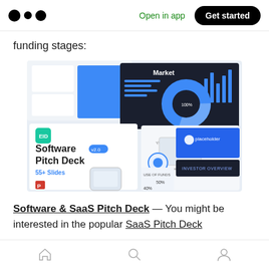Medium app header with logo, Open in app, Get started
funding stages:
[Figure (screenshot): Software & SaaS Pitch Deck product image showing multiple presentation slides including Market slide, Investor Overview, Use of Funds, and a device mockup. Text reads: Software v2.0 Pitch Deck, 55+ Slides]
Software & SaaS Pitch Deck — You might be interested in the popular SaaS Pitch Deck
Bottom navigation bar with Home, Search, and Profile icons